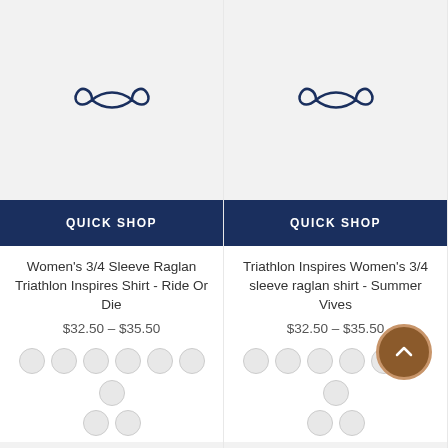[Figure (screenshot): Product image placeholder for Women's 3/4 Sleeve Raglan Triathlon Inspires Shirt - Ride Or Die, showing a logo/infinity symbol on gray background]
QUICK SHOP
Women's 3/4 Sleeve Raglan Triathlon Inspires Shirt - Ride Or Die
$32.50 – $35.50
[Figure (screenshot): Product image placeholder for Triathlon Inspires Women's 3/4 sleeve raglan shirt - Summer Vives, showing a logo/infinity symbol on gray background]
QUICK SHOP
Triathlon Inspires Women's 3/4 sleeve raglan shirt - Summer Vives
$32.50 – $35.50